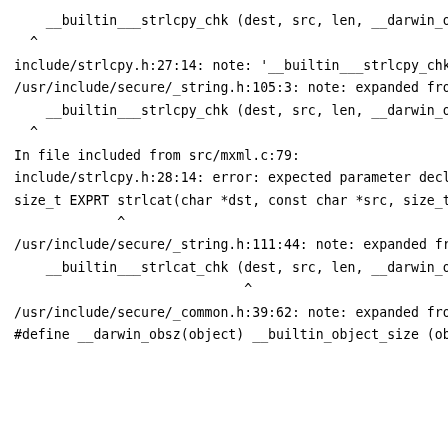__builtin___strlcpy_chk (dest, src, len, __darwin_obs
  ^
include/strlcpy.h:27:14: note: '__builtin___strlcpy_chk
/usr/include/secure/_string.h:105:3: note: expanded fro
    __builtin___strlcpy_chk (dest, src, len, __darwin_obs
  ^

In file included from src/mxml.c:79:
include/strlcpy.h:28:14: error: expected parameter decl
size_t EXPRT strlcat(char *dst, const char *src, size_t
             ^

/usr/include/secure/_string.h:111:44: note: expanded fr
    __builtin___strlcat_chk (dest, src, len, __darwin_obs
                             ^

/usr/include/secure/_common.h:39:62: note: expanded fro
#define __darwin_obsz(object) __builtin_object_size (ob